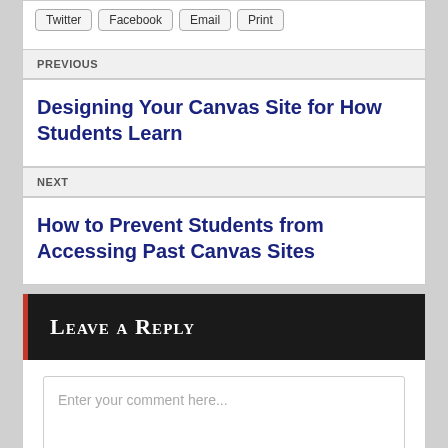Twitter | Facebook | Email | Print
PREVIOUS
Designing Your Canvas Site for How Students Learn
NEXT
How to Prevent Students from Accessing Past Canvas Sites
Leave a Reply
Enter your comment here...